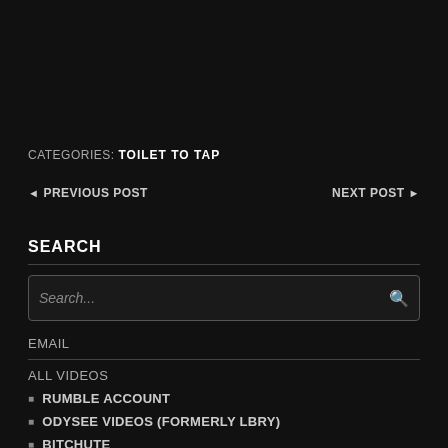CATEGORIES: TOILET TO TAP
◄ PREVIOUS POST
NEXT POST ►
SEARCH
Search...
EMAIL
ALL VIDEOS
RUMBLE ACCOUNT
ODYSEE VIDEOS (Formerly LBRY)
BITCHUTE